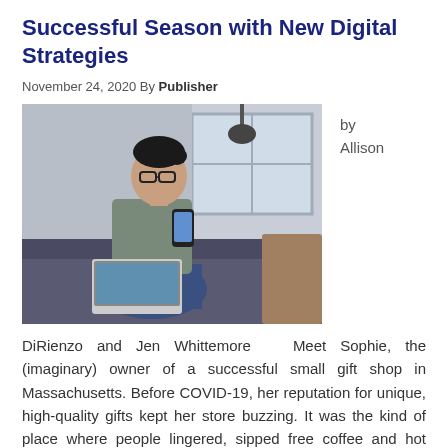Successful Season with New Digital Strategies
November 24, 2020 By Publisher
[Figure (photo): A woman with glasses sitting on a couch, holding a smartphone and using a laptop, in a modern office/living space.]
by Allison
DiRienzo and Jen Whittemore  Meet Sophie, the (imaginary) owner of a successful small gift shop in Massachusetts. Before COVID-19, her reputation for unique, high-quality gifts kept her store buzzing. It was the kind of place where people lingered, sipped free coffee and hot cider, and were enticed to buy more! Once the pandemic [...]